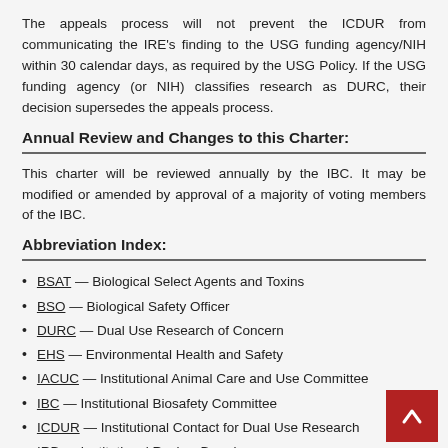The appeals process will not prevent the ICDUR from communicating the IRE's finding to the USG funding agency/NIH within 30 calendar days, as required by the USG Policy. If the USG funding agency (or NIH) classifies research as DURC, their decision supersedes the appeals process.
Annual Review and Changes to this Charter:
This charter will be reviewed annually by the IBC. It may be modified or amended by approval of a majority of voting members of the IBC.
Abbreviation Index:
BSAT — Biological Select Agents and Toxins
BSO — Biological Safety Officer
DURC — Dual Use Research of Concern
EHS — Environmental Health and Safety
IACUC — Institutional Animal Care and Use Committee
IBC — Institutional Biosafety Committee
ICDUR — Institutional Contact for Dual Use Research
IRB — Institutional Review Board